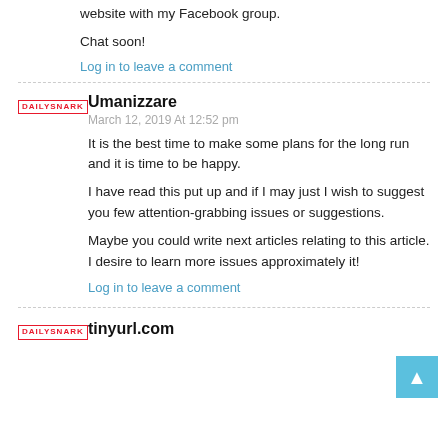website with my Facebook group.
Chat soon!
Log in to leave a comment
Umanizzare
March 12, 2019 At 12:52 pm
It is the best time to make some plans for the long run and it is time to be happy.
I have read this put up and if I may just I wish to suggest you few attention-grabbing issues or suggestions.
Maybe you could write next articles relating to this article.
I desire to learn more issues approximately it!
Log in to leave a comment
tinyurl.com